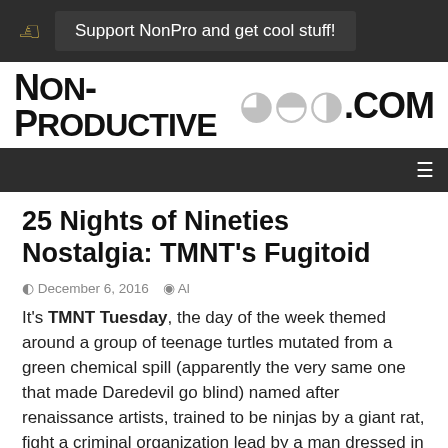Support NonPro and get cool stuff!
[Figure (logo): Non-Productive.com logo with radio signal icon]
25 Nights of Nineties Nostalgia: TMNT's Fugitoid
December 6, 2016   Al
It's TMNT Tuesday, the day of the week themed around a group of teenage turtles mutated from a green chemical spill (apparently the very same one that made Daredevil go blind) named after renaissance artists, trained to be ninjas by a giant rat, fight a criminal organization lead by a man dressed in